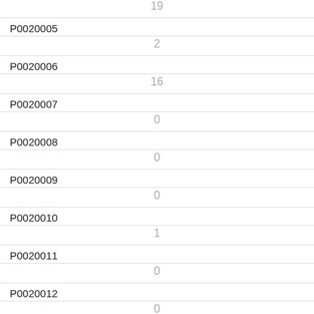| Code | Value |
| --- | --- |
| (continued) | 19 |
| P0020005 | 2 |
| P0020006 | 16 |
| P0020007 | 0 |
| P0020008 | 0 |
| P0020009 | 0 |
| P0020010 | 1 |
| P0020011 | 0 |
| P0020012 | 0 |
| P0020013 | 0 |
| P0020014 | 0 |